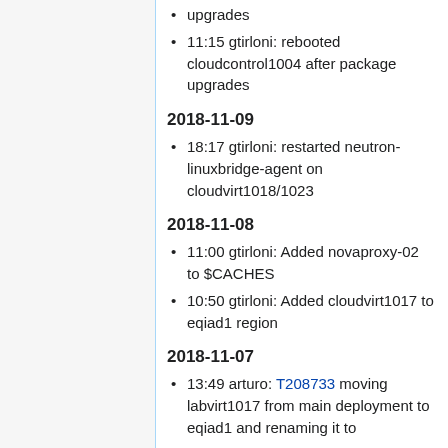upgrades
11:15 gtirloni: rebooted cloudcontrol1004 after package upgrades
2018-11-09
18:17 gtirloni: restarted neutron-linuxbridge-agent on cloudvirt1018/1023
2018-11-08
11:00 gtirloni: Added novaproxy-02 to $CACHES
10:50 gtirloni: Added cloudvirt1017 to eqiad1 region
2018-11-07
13:49 arturo: T208733 moving labvirt1017 from main deployment to eqiad1 and renaming it to